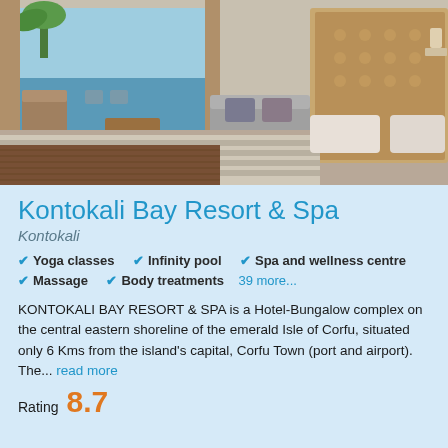[Figure (photo): Hotel room interior at Kontokali Bay Resort & Spa showing a double bed with striped bedding, sofa, wooden furniture, and a balcony view of the sea with palm trees visible]
Kontokali Bay Resort & Spa
Kontokali
Yoga classes
Infinity pool
Spa and wellness centre
Massage
Body treatments
39 more...
KONTOKALI BAY RESORT & SPA is a Hotel-Bungalow complex on the central eastern shoreline of the emerald Isle of Corfu, situated only 6 Kms from the island's capital, Corfu Town (port and airport). The... read more
Rating 8.7